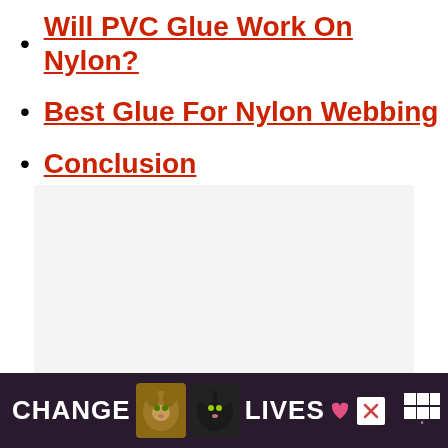Will PVC Glue Work On Nylon?
Best Glue For Nylon Webbing
Conclusion
[Figure (other): Gray placeholder advertisement box]
[Figure (other): CHANGE LIVES advertisement banner with cat images on dark purple background]